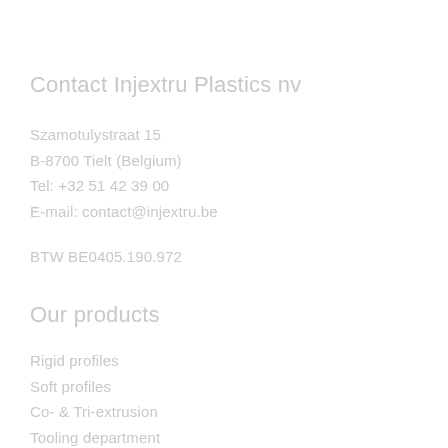Contact Injextru Plastics nv
Szamotulystraat 15
B-8700 Tielt (Belgium)
Tel: +32 51 42 39 00
E-mail: contact@injextru.be
BTW BE0405.190.972
Our products
Rigid profiles
Soft profiles
Co- & Tri-extrusion
Tooling department
R&D
Finishing